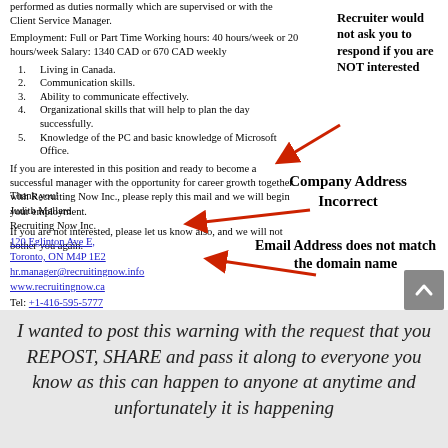performed as duties normally which are supervised or with the Client Service Manager.
Employment: Full or Part Time Working hours: 40 hours/week or 20 hours/week Salary: 1340 CAD or 670 CAD weekly
Living in Canada.
Communication skills.
Ability to communicate effectively.
Organizational skills that will help to plan the day successfully.
Knowledge of the PC and basic knowledge of Microsoft Office.
If you are interested in this position and ready to become a successful manager with the opportunity for career growth together with Recruiting Now Inc., please reply this mail and we will begin your employment.
If you are not interested, please let us know also, and we will not bother you again.
Thank you!
Judith Mallard
Recruiting Now Inc.
120 Eglinton Ave E,
Toronto, ON M4P 1E2
hr.manager@recruitingnow.info
www.recruitingnow.ca
Tel: +1-416-595-5777
Recruiter would not ask you to respond if you are NOT interested
Company Address Incorrect
Email Address does not match the domain name
I wanted to post this warning with the request that you REPOST, SHARE and pass it along to everyone you know as this can happen to anyone at anytime and unfortunately it is happening